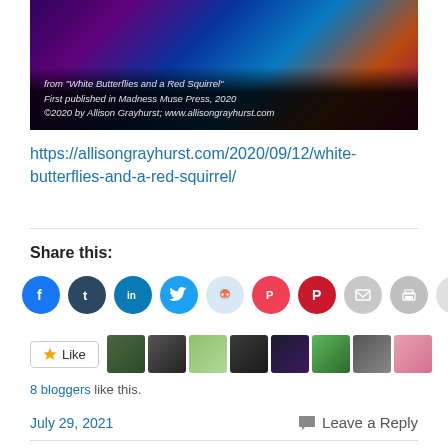[Figure (photo): Dark background image with colorful abstract lighting (purple, blue, orange) with overlaid text: 'from "White Butterflies and a Red Squirrel" / First published in Madness Muse Press, 2020 / ©2020 by Allison Grayhurst; www.allisongrayhurst.com']
https://allisongrayhurst.com/2020/09/12/white-butterflies-and-a-red-squirrel/
Share this:
[Figure (infographic): Row of social sharing icon buttons: Facebook (blue), Tumblr (dark blue), LinkedIn (blue), Twitter (light blue), Reddit (light blue), Pocket (red), Pinterest (red), Email (gray), Print (gray), More (light gray)]
[Figure (infographic): Like button with star icon and 8 blogger avatars shown as small thumbnail images]
8 bloggers like this.
July 29, 2021
Leave a Reply